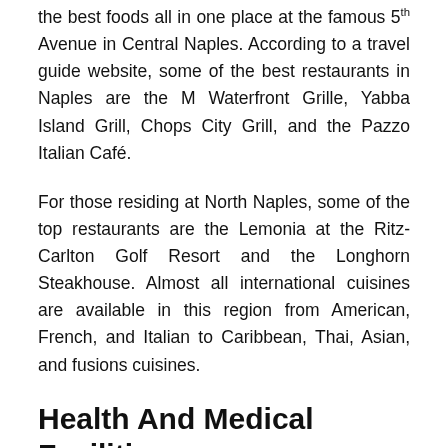the best foods all in one place at the famous 5th Avenue in Central Naples. According to a travel guide website, some of the best restaurants in Naples are the M Waterfront Grille, Yabba Island Grill, Chops City Grill, and the Pazzo Italian Café.
For those residing at North Naples, some of the top restaurants are the Lemonia at the Ritz-Carlton Golf Resort and the Longhorn Steakhouse. Almost all international cuisines are available in this region from American, French, and Italian to Caribbean, Thai, Asian, and fusions cuisines.
Health And Medical Facilities
For health and medical services, residents of the Naples condos can conveniently access various medical facilities such as Naples Community Hospitals operating in various areas in Naples. There